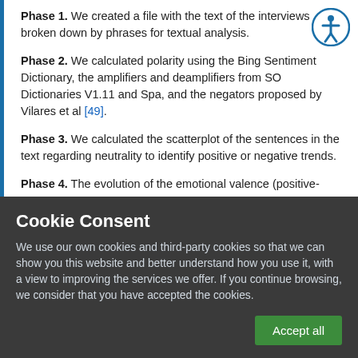Phase 1. We created a file with the text of the interviews broken down by phrases for textual analysis.
Phase 2. We calculated polarity using the Bing Sentiment Dictionary, the amplifiers and deamplifiers from SO Dictionaries V1.11 and Spa, and the negators proposed by Vilares et al [49].
Phase 3. We calculated the scatterplot of the sentences in the text regarding neutrality to identify positive or negative trends.
Phase 4. The evolution of the emotional valence (positive-
Cookie Consent
We use our own cookies and third-party cookies so that we can show you this website and better understand how you use it, with a view to improving the services we offer. If you continue browsing, we consider that you have accepted the cookies.